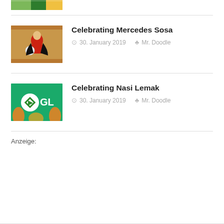[Figure (photo): Partial thumbnail image at top, colorful green and yellow pattern, cropped]
Celebrating Mercedes Sosa
30. January 2019   Mr. Doodle
[Figure (photo): Thumbnail image showing a person in red and black clothing with musical instrument, Google Doodle style]
Celebrating Nasi Lemak
30. January 2019   Mr. Doodle
[Figure (photo): Thumbnail image with teal/green background, Google logo style with food illustration]
Anzeige: